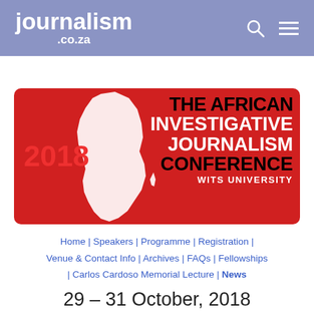journalism.co.za
[Figure (logo): 2018 The African Investigative Journalism Conference Wits University logo — red banner with Africa continent silhouette, white and black bold text]
Home | Speakers | Programme | Registration | Venue & Contact Info | Archives | FAQs | Fellowships | Carlos Cardoso Memorial Lecture | News
29 – 31 October, 2018